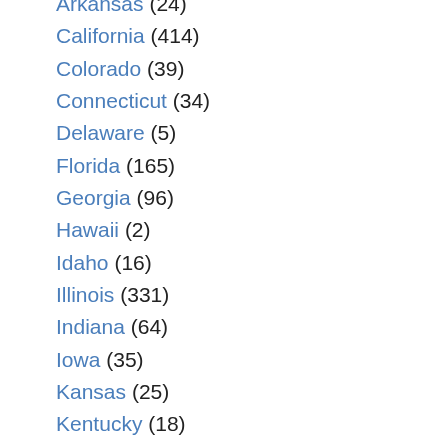Arkansas (24)
California (414)
Colorado (39)
Connecticut (34)
Delaware (5)
Florida (165)
Georgia (96)
Hawaii (2)
Idaho (16)
Illinois (331)
Indiana (64)
Iowa (35)
Kansas (25)
Kentucky (18)
Louisiana (22)
Maine (9)
Maryland (20)
Massachusetts (62)
Michigan (126)
Minnesota (92)
Mississippi (21)